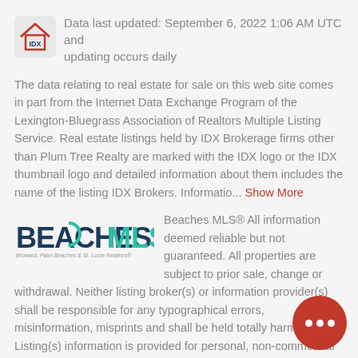Data last updated: September 6, 2022 1:06 AM UTC and updating occurs daily
The data relating to real estate for sale on this web site comes in part from the Internet Data Exchange Program of the Lexington-Bluegrass Association of Realtors Multiple Listing Service. Real estate listings held by IDX Brokerage firms other than Plum Tree Realty are marked with the IDX logo or the IDX thumbnail logo and detailed information about them includes the name of the listing IDX Brokers. Informatio... Show More
[Figure (logo): Beaches MLS logo with tagline: Broward, Palm Beaches & St. Lucie Realtors]
Beaches MLS® All information deemed reliable but not guaranteed. All properties are subject to prior sale, change or withdrawal. Neither listing broker(s) or information provider(s) shall be responsible for any typographical errors, misinformation, misprints and shall be held totally harmless. Listing(s) information is provided for personal, non-commercial use and may not be used for any purpose other than to identify prospective properties consumers may be interested in purchasin... Show More